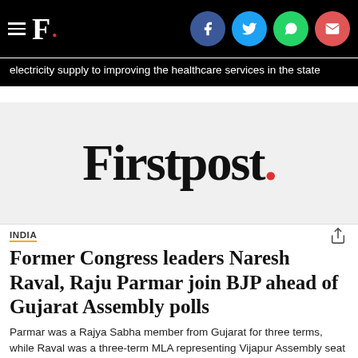F. [Firstpost logo with social icons: Facebook, Twitter, WhatsApp, Email]
electricity supply to improving the healthcare services in the state
[Figure (logo): Firstpost logo on light grey background — large serif bold text reading 'Firstpost.' with red period]
INDIA
Former Congress leaders Naresh Raval, Raju Parmar join BJP ahead of Gujarat Assembly polls
Parmar was a Rajya Sabha member from Gujarat for three terms, while Raval was a three-term MLA representing Vijapur Assembly seat in Mehsana